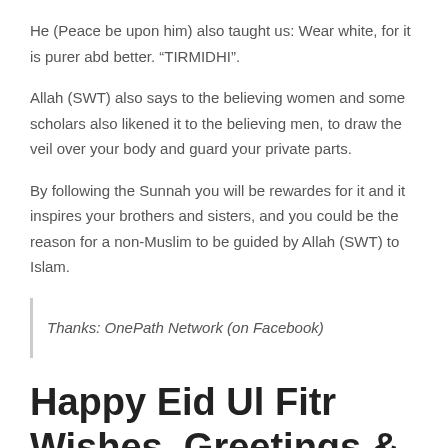He (Peace be upon him) also taught us: Wear white, for it is purer abd better. “TIRMIDHI”.
Allah (SWT) also says to the believing women and some scholars also likened it to the believing men, to draw the veil over your body and guard your private parts.
By following the Sunnah you will be rewardes for it and it inspires your brothers and sisters, and you could be the reason for a non-Muslim to be guided by Allah (SWT) to Islam.
Thanks: OnePath Network (on Facebook)
Happy Eid Ul Fitr Wishes, Greetings & Photos